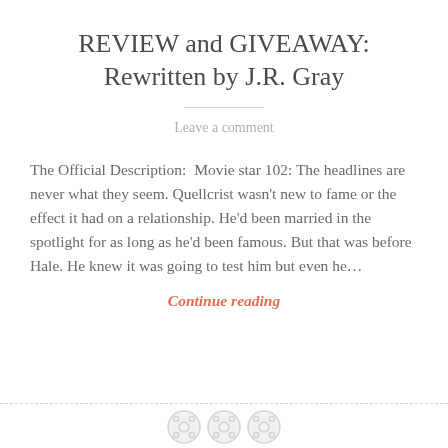REVIEW and GIVEAWAY: Rewritten by J.R. Gray
Leave a comment
The Official Description:  Movie star 102: The headlines are never what they seem. Quellcrist wasn't new to fame or the effect it had on a relationship. He'd been married in the spotlight for as long as he'd been famous. But that was before Hale. He knew it was going to test him but even he…
Continue reading